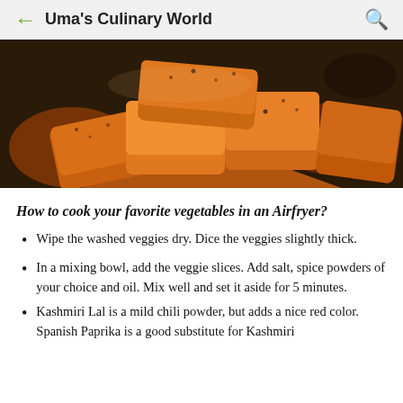Uma's Culinary World
[Figure (photo): Close-up photo of seasoned vegetable chunks (appears to be sweet potato or butternut squash) with spices on them, arranged on a dark surface.]
How to cook your favorite vegetables in an Airfryer?
Wipe the washed veggies dry. Dice the veggies slightly thick.
In a mixing bowl, add the veggie slices. Add salt, spice powders of your choice and oil. Mix well and set it aside for 5 minutes.
Kashmiri Lal is a mild chili powder, but adds a nice red color. Spanish Paprika is a good substitute for Kashmiri